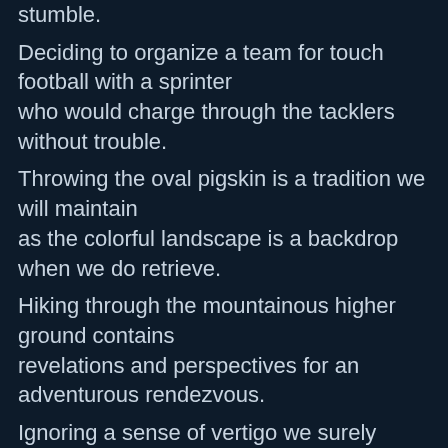stumble.
Deciding to organize a team for touch football with a sprinter
who would charge through the tacklers without trouble.
Throwing the oval pigskin is a tradition we will maintain
as the colorful landscape is a backdrop when we do retrieve.
Hiking through the mountainous higher ground contains
revelations and perspectives for an adventurous rendezvous.
Ignoring a sense of vertigo we surely assist to achieve
an emancipation of spirit as we savor the mountain's dew.